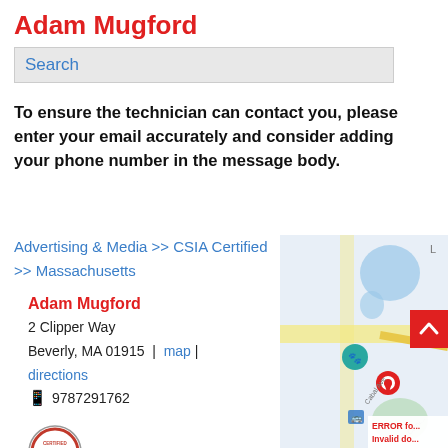Adam Mugford
Search
To ensure the technician can contact you, please enter your email accurately and consider adding your phone number in the message body.
Advertising & Media >> CSIA Certified >> Massachusetts
Adam Mugford
2 Clipper Way
Beverly, MA 01915 | map | directions
📱 9787291762
[Figure (map): Google map showing location of Adam Mugford at 2 Clipper Way, Beverly MA, with a red pin marker and surrounding street/water features. An error notice reads: ERROR fo... Invalid do...]
ERROR fo... Invalid do...